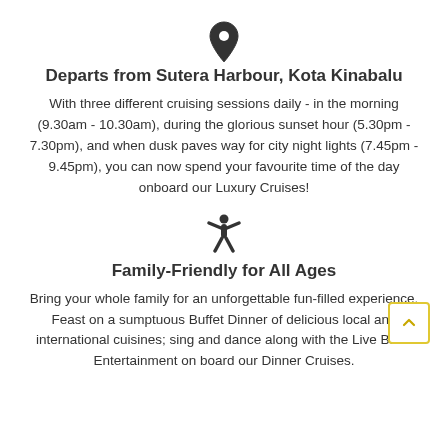[Figure (illustration): Location pin / map marker icon in dark gray]
Departs from Sutera Harbour, Kota Kinabalu
With three different cruising sessions daily - in the morning (9.30am - 10.30am), during the glorious sunset hour (5.30pm - 7.30pm), and when dusk paves way for city night lights (7.45pm - 9.45pm), you can now spend your favourite time of the day onboard our Luxury Cruises!
[Figure (illustration): Person with arms outstretched icon (family/accessibility figure) in dark gray]
Family-Friendly for All Ages
Bring your whole family for an unforgettable fun-filled experience. Feast on a sumptuous Buffet Dinner of delicious local and international cuisines; sing and dance along with the Live Band Entertainment on board our Dinner Cruises.